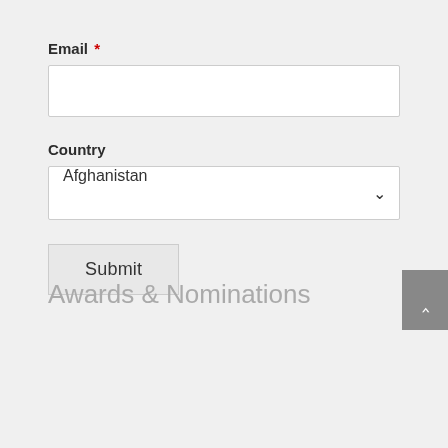Email *
Country
Afghanistan
Submit
Awards & Nominations